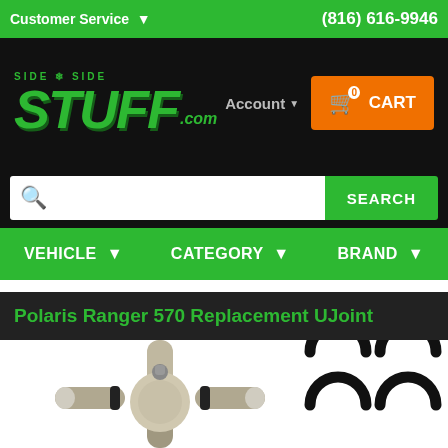Customer Service  (816) 616-9946
[Figure (logo): SideBySideStuff.com logo in green on black background]
Account
0 CART
[Figure (screenshot): Search bar with magnifying glass icon and SEARCH button]
VEHICLE  CATEGORY  BRAND
Polaris Ranger 570 Replacement UJoint
[Figure (photo): Polaris Ranger 570 Replacement UJoint product photo showing metal universal joint cross and C-clip retaining rings]